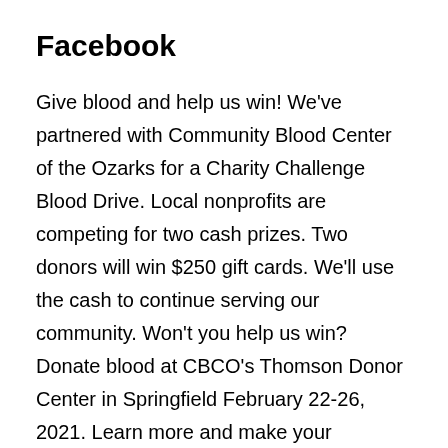Facebook
Give blood and help us win! We've partnered with Community Blood Center of the Ozarks for a Charity Challenge Blood Drive. Local nonprofits are competing for two cash prizes. Two donors will win $250 gift cards. We'll use the cash to continue serving our community. Won't you help us win? Donate blood at CBCO's Thomson Donor Center in Springfield February 22-26, 2021. Learn more and make your appointment by visiting https://www.cbco.org/charitychallenge. Did you know CBCO is the sole provider of blood to all local hospitals? That means your donation helps friends, neighbors, and loved ones in need. Plus you're helping two nonprofits with one simple act — giving